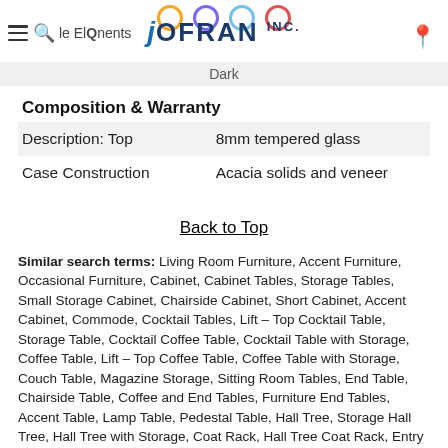Jofran Inc. - Dark
Composition & Warranty
| Description: Top | 8mm tempered glass |
| Case Construction | Acacia solids and veneer |
Back to Top
Similar search terms: Living Room Furniture, Accent Furniture, Occasional Furniture, Cabinet, Cabinet Tables, Storage Tables, Small Storage Cabinet, Chairside Cabinet, Short Cabinet, Accent Cabinet, Commode, Cocktail Tables, Lift – Top Cocktail Table, Storage Table, Cocktail Coffee Table, Cocktail Table with Storage, Coffee Table, Lift – Top Coffee Table, Coffee Table with Storage, Couch Table, Magazine Storage, Sitting Room Tables, End Table, Chairside Table, Coffee and End Tables, Furniture End Tables, Accent Table, Lamp Table, Pedestal Table, Hall Tree, Storage Hall Tree, Hall Tree with Storage, Coat Rack, Hall Tree Coat Rack, Entry Hall Tree, Hat Rack, Hall Tree with Bench